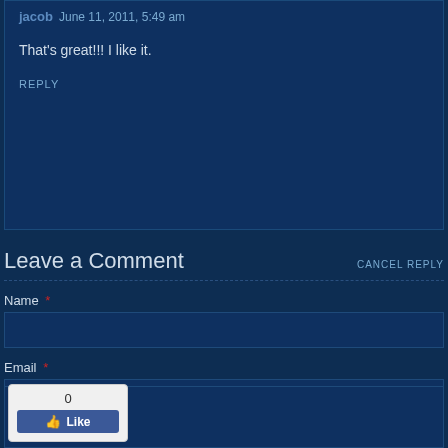jacob · June 11, 2011, 5:49 am
That's great!!! I like it.
REPLY
Leave a Comment
CANCEL REPLY
Name *
Email *
Comment
[Figure (screenshot): Facebook Like button widget showing count of 0 and a blue Like button with thumbs up icon]